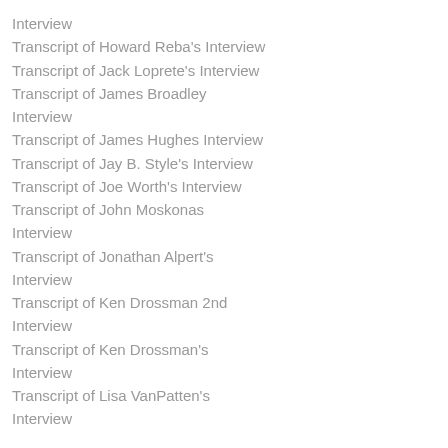Interview
Transcript of Howard Reba's Interview
Transcript of Jack Loprete's Interview
Transcript of James Broadley Interview
Interview
Transcript of James Hughes Interview
Transcript of Jay B. Style's Interview
Transcript of Joe Worth's Interview
Transcript of John Moskonas Interview
Interview
Transcript of Jonathan Alpert's Interview
Interview
Transcript of Ken Drossman 2nd Interview
Interview
Transcript of Ken Drossman's Interview
Interview
Transcript of Lisa VanPatten's Interview
Interview